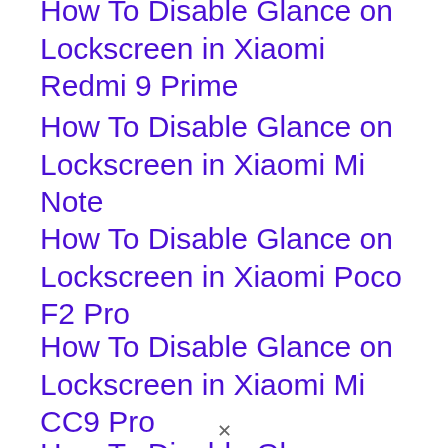How To Disable Glance on Lockscreen in Xiaomi Redmi 9 Prime
How To Disable Glance on Lockscreen in Xiaomi Mi Note
How To Disable Glance on Lockscreen in Xiaomi Poco F2 Pro
How To Disable Glance on Lockscreen in Xiaomi Mi CC9 Pro
How To Disable Glance on Lockscreen in Xiaomi Mi Note Pro